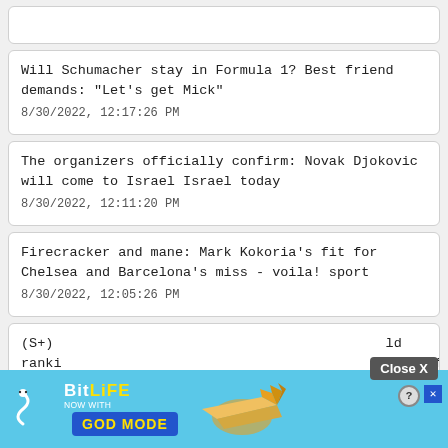[Figure (screenshot): Empty card at top]
Will Schumacher stay in Formula 1? Best friend demands: "Let's get Mick"
8/30/2022, 12:17:26 PM
The organizers officially confirm: Novak Djokovic will come to Israel Israel today
8/30/2022, 12:11:20 PM
Firecracker and mane: Mark Kokoria's fit for Chelsea and Barcelona's miss - voila! sport
8/30/2022, 12:05:26 PM
Close X
(S+) ld ranki of
[Figure (screenshot): BitLife ad banner: NOW WITH GOD MODE, with help and close buttons]